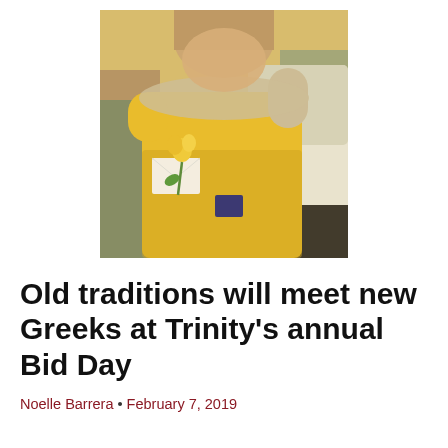[Figure (photo): Photo of a person wearing a yellow t-shirt holding a yellow flower and an envelope, being hugged by another person in a white top, outdoors in bright sunlight — a Bid Day scene.]
Old traditions will meet new Greeks at Trinity's annual Bid Day
Noelle Barrera • February 7, 2019